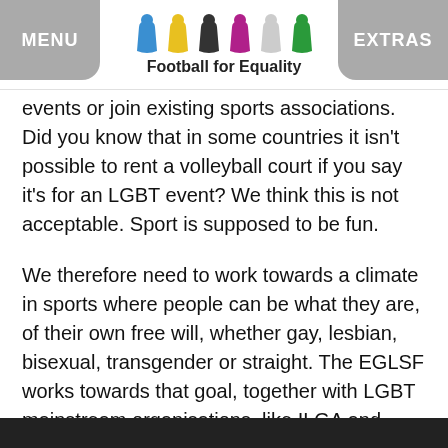Football for Equality — MENU | EXTRAS
events or join existing sports associations. Did you know that in some countries it isn't possible to rent a volleyball court if you say it's for an LGBT event? We think this is not acceptable. Sport is supposed to be fun.
We therefore need to work towards a climate in sports where people can be what they are, of their own free will, whether gay, lesbian, bisexual, transgender or straight. The EGLSF works towards that goal, together with LGBT mainstream organisations, like ILGA and others, as well as with European institutions like the European Council and